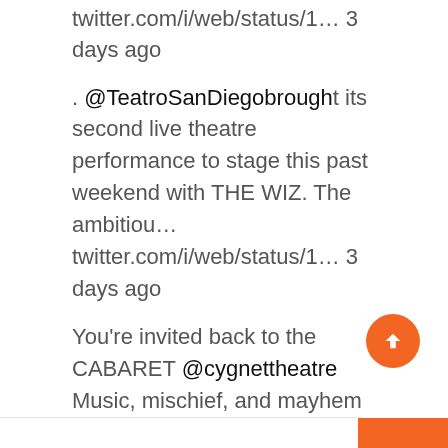twitter.com/i/web/status/1... 3 days ago
. @TeatroSanDiegobrough t its second live theatre performance to stage this past weekend with THE WIZ. The ambitiou... twitter.com/i/web/status/1... 3 days ago
You're invited back to the CABARET @cygnettheatre Music, mischief, and mayhem lurk just inside, so come to the CABA... twitter.com/i/web/status/1... 3 weeks ago
Follow @talktheatretome
ARCHIVES
Select Month